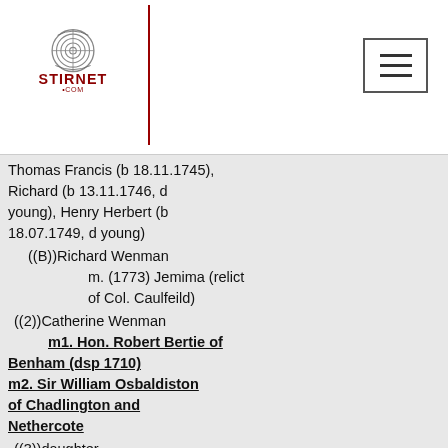Stirnet.com logo and navigation header
Thomas Francis (b 18.11.1745), Richard (b 13.11.1746, d young), Henry Herbert (b 18.07.1749, d young)
((B))Richard Wenman
    m. (1773) Jemima (relict of Col. Caulfeild)
((2))Catherine Wenman
    m1. Hon. Robert Bertie of Benham (dsp 1710)
    m2. Sir William Osbaldiston of Chadlington and Nethercote
((3))daughter
    m. John Wicksted
(b) other issue - Thomas (d b c1652, d ...